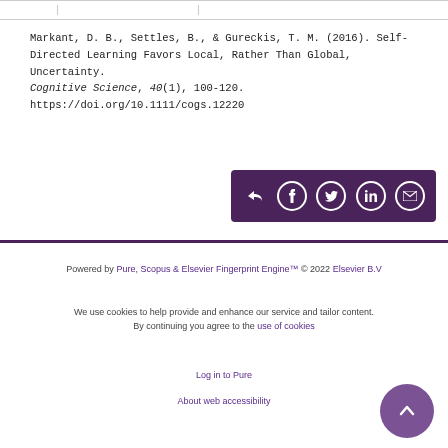Markant, D. B., Settles, B., & Gureckis, T. M. (2016). Self-Directed Learning Favors Local, Rather Than Global, Uncertainty. Cognitive Science, 40(1), 100-120. https://doi.org/10.1111/cogs.12220
[Figure (other): Share bar with icons for share, Facebook, Twitter, LinkedIn, and email on a dark purple background]
Powered by Pure, Scopus & Elsevier Fingerprint Engine™ © 2022 Elsevier B.V
We use cookies to help provide and enhance our service and tailor content. By continuing you agree to the use of cookies
Log in to Pure
About web accessibility